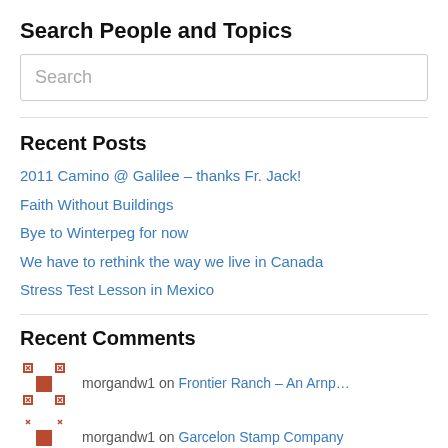Search People and Topics
Search
Recent Posts
2011 Camino @ Galilee – thanks Fr. Jack!
Faith Without Buildings
Bye to Winterpeg for now
We have to rethink the way we live in Canada
Stress Test Lesson in Mexico
Recent Comments
morgandw1 on Frontier Ranch – An Arnp…
morgandw1 on Garcelon Stamp Company